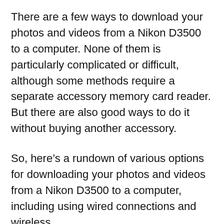There are a few ways to download your photos and videos from a Nikon D3500 to a computer. None of them is particularly complicated or difficult, although some methods require a separate accessory memory card reader. But there are also good ways to do it without buying another accessory.
So, here’s a rundown of various options for downloading your photos and videos from a Nikon D3500 to a computer, including using wired connections and wireless.
And just so everyone’s on the same page, it’s worth saying that with a DSLR like the D3500, the images are stored on the SD card in the camera. That’s different from a smartphone,